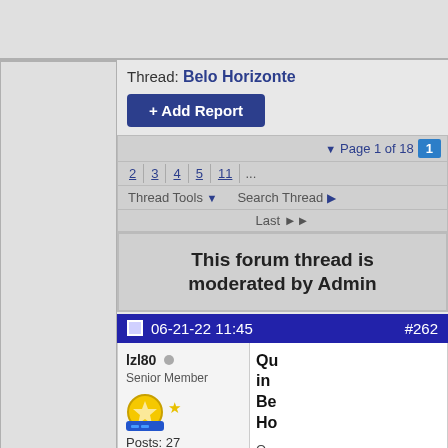Thread: Belo Horizonte
+ Add Report
Page 1 of 18  1  2  3  4  5  11 ...
Thread Tools ▼   Search Thread ▶
Last ▶▶
This forum thread is moderated by Admin
06-21-22 11:45   #262
lzl80
Senior Member
Posts: 27